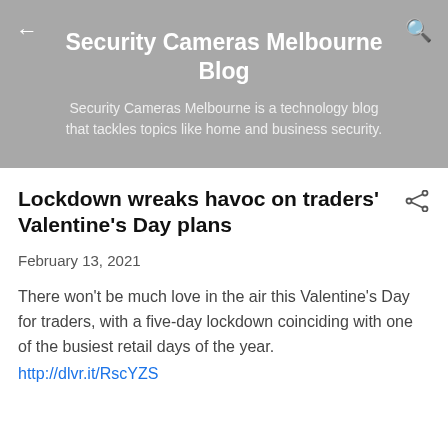Security Cameras Melbourne Blog
Security Cameras Melbourne is a technology blog that tackles topics like home and business security.
Lockdown wreaks havoc on traders' Valentine's Day plans
February 13, 2021
There won't be much love in the air this Valentine's Day for traders, with a five-day lockdown coinciding with one of the busiest retail days of the year.
http://dlvr.it/RscYZS